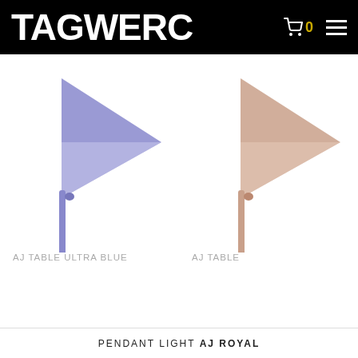TAGWERC
[Figure (photo): AJ Table lamp in ultra blue color - designer table lamp with triangular shade and circular base]
AJ TABLE ULTRA BLUE
[Figure (photo): AJ Table lamp in rose/copper color - designer table lamp with triangular shade and circular base]
AJ TABLE
PENDANT LIGHT AJ ROYAL